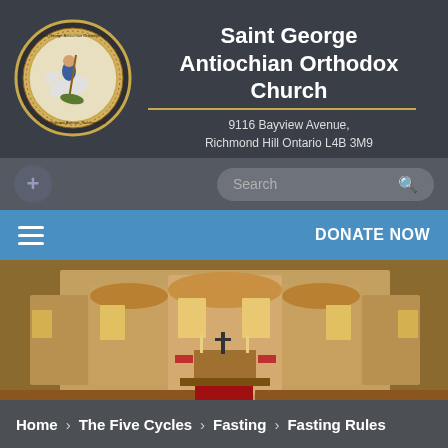[Figure (logo): Saint George Antiochian Orthodox Church circular logo with gold border showing Saint George on horseback]
Saint George Antiochian Orthodox Church
9116 Bayview Avenue, Richmond Hill Ontario L4B 3M9
Search
DONATE NOW
[Figure (photo): Interior of Saint George Antiochian Orthodox Church showing the iconostasis, altar, red carpet, and wooden pews]
Home > The Five Cycles > Fasting > Fasting Rules